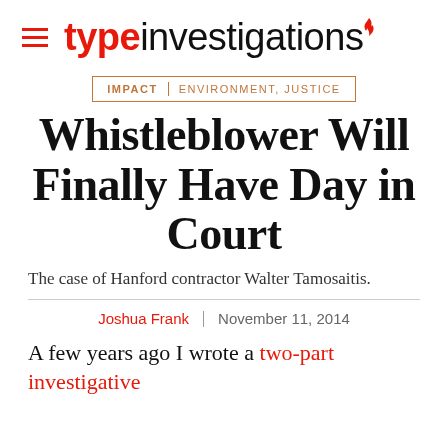type investigations
IMPACT | ENVIRONMENT, JUSTICE
Whistleblower Will Finally Have Day in Court
The case of Hanford contractor Walter Tamosaitis.
Joshua Frank | November 11, 2014
A few years ago I wrote a two-part investigative